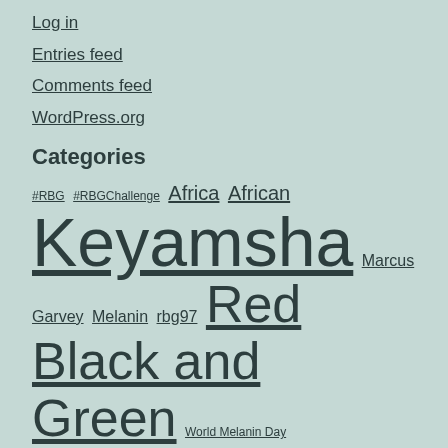Log in
Entries feed
Comments feed
WordPress.org
Categories
#RBG #RBGChallenge Africa African Keyamsha Marcus Garvey Melanin rbg97 Red Black and Green World Melanin Day
Nnamdi Azikiwe's Linkedin Profile
Nnamdi Azikiwe